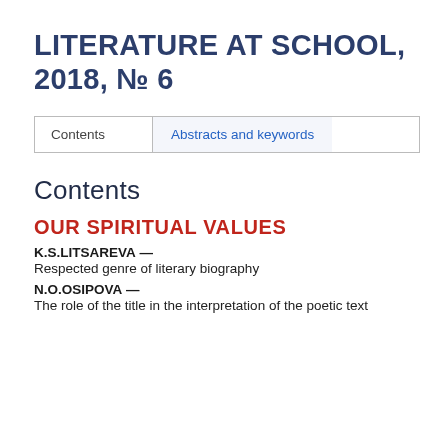LITERATURE AT SCHOOL, 2018, № 6
Contents | Abstracts and keywords
Contents
OUR SPIRITUAL VALUES
K.S.LITSAREVA —
Respected genre of literary biography
N.O.OSIPOVA —
The role of the title in the interpretation of the poetic text